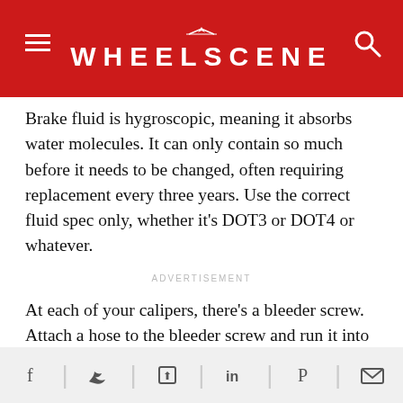WHEELSCENE
Brake fluid is hygroscopic, meaning it absorbs water molecules. It can only contain so much before it needs to be changed, often requiring replacement every three years. Use the correct fluid spec only, whether it's DOT3 or DOT4 or whatever.
ADVERTISEMENT
At each of your calipers, there's a bleeder screw. Attach a hose to the bleeder screw and run it into a bottle. It's a good investment to buy a bleeder hose with a check valve, you'll see why in a minute. Open the bleeder screw and press the brake pedal to the floor. Tighten the bleeder screw, then release the brake pedal. Be careful not to release the pedal before the screw is tight or air will get into the system, and you'll be bleeding forever. Open, stomp, tighten, release. Repeat.
Social share icons: Facebook, Twitter, Share, LinkedIn, Pinterest, Email